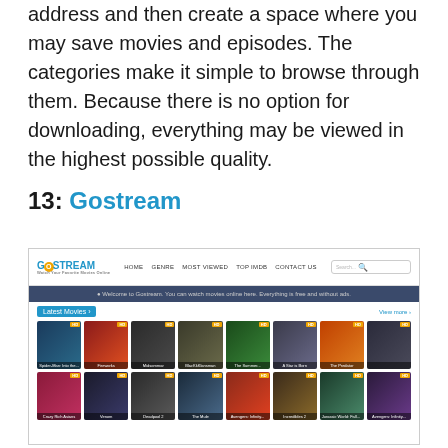address and then create a space where you may save movies and episodes. The categories make it simple to browse through them. Because there is no option for downloading, everything may be viewed in the highest possible quality.
13: Gostream
[Figure (screenshot): Screenshot of the Gostream website showing its navigation bar with logo, menu items (Home, Genre, Most Viewed, Top IMDB, Contact Us), search box, a welcome banner, a Latest Movies section with movie poster grid showing HD-labeled thumbnails.]